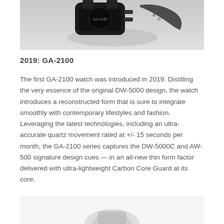[Figure (photo): Top portion of a G-SHOCK GA-2100 watch shown from above against a light grey/white background, with screws or components visible near the crown area.]
2019: GA-2100
The first GA-2100 watch was introduced in 2019. Distilling the very essence of the original DW-5000 design, the watch introduces a reconstructed form that is sure to integrate smoothly with contemporary lifestyles and fashion. Leveraging the latest technologies, including an ultra-accurate quartz movement rated at +/- 15 seconds per month, the GA-2100 series captures the DW-5000C and AW-500 signature design cues — in an all-new thin form factor delivered with ultra-lightweight Carbon Core Guard at its core.
[Figure (photo): Bottom portion of a watch or watch component shown from below against a white background, partially visible at the bottom of the page.]